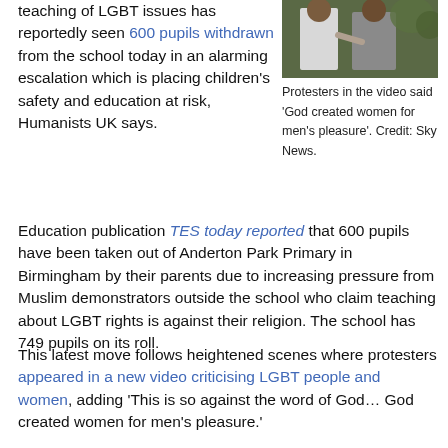teaching of LGBT issues has reportedly seen 600 pupils withdrawn from the school today in an alarming escalation which is placing children's safety and education at risk, Humanists UK says.
[Figure (photo): Two men standing outdoors, one in a white shirt, one in a grey jacket. Sky News photo of protesters.]
Protesters in the video said 'God created women for men's pleasure'. Credit: Sky News.
Education publication TES today reported that 600 pupils have been taken out of Anderton Park Primary in Birmingham by their parents due to increasing pressure from Muslim demonstrators outside the school who claim teaching about LGBT rights is against their religion. The school has 749 pupils on its roll.
This latest move follows heightened scenes where protesters appeared in a new video criticising LGBT people and women, adding 'This is so against the word of God… God created women for men's pleasure.'